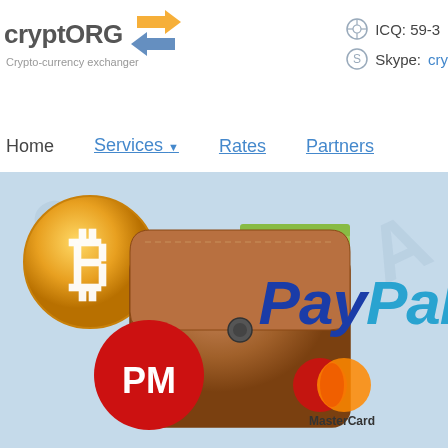[Figure (logo): cryptORG logo with exchange arrows icon and tagline 'Crypto-currency exchanger']
ICQ: 59-3
Skype: cry
Home   Services   Rates   Partners
[Figure (illustration): Banner illustration showing Bitcoin coin, leather wallet, PayPal logo, Perfect Money (PM) red circle logo, and MasterCard logo on a light blue background]